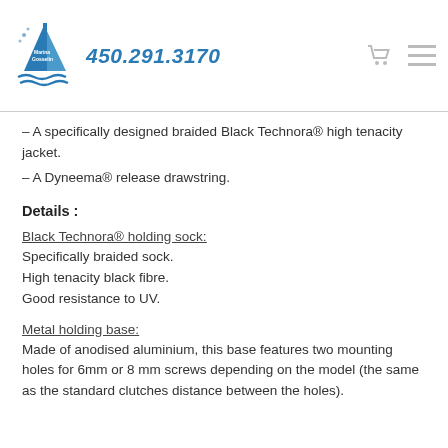450.291.3170
– A specifically designed braided Black Technora® high tenacity jacket.
– A Dyneema® release drawstring.
Details :
Black Technora® holding sock:
Specifically braided sock.
High tenacity black fibre.
Good resistance to UV.
Metal holding base:
Made of anodised aluminium, this base features two mounting holes for 6mm or 8 mm screws depending on the model (the same as the standard clutches distance between the holes).